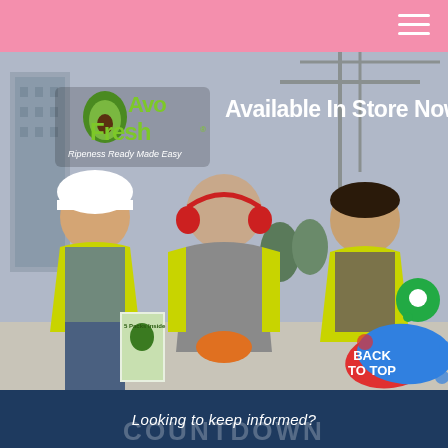[Figure (photo): Three construction workers in yellow high-visibility vests sitting on a ledge taking a break. The left worker wears a white hard hat and is eating something. The center worker has orange ear protection around his neck and an orange hard hat on the ground. The right worker is smiling. An AvoFresh product package is visible near the left worker's feet. The AvoFresh logo appears in the upper left with the text 'Available In Store Now' in white, and the tagline 'Ripeness Ready Made Easy'.]
Looking to keep informed?
countdown